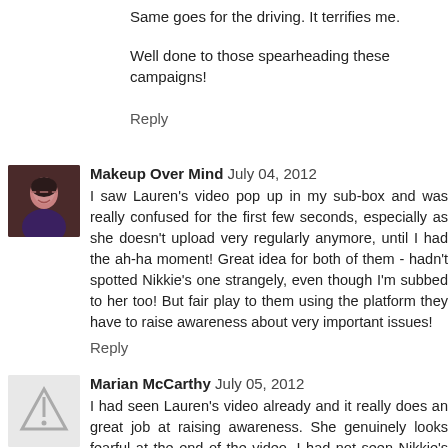Same goes for the driving. It terrifies me.
Well done to those spearheading these campaigns!
Reply
Makeup Over Mind  July 04, 2012
I saw Lauren's video pop up in my sub-box and was really confused for the first few seconds, especially as she doesn't upload very regularly anymore, until I had the ah-ha moment! Great idea for both of them - hadn't spotted Nikkie's one strangely, even though I'm subbed to her too! But fair play to them using the platform they have to raise awareness about very important issues!
Reply
Marian McCarthy  July 05, 2012
I had seen Lauren's video already and it really does an great job at raising awareness. She genuinely looks fearful at the end of the video. I had not seen Nikkie's one though